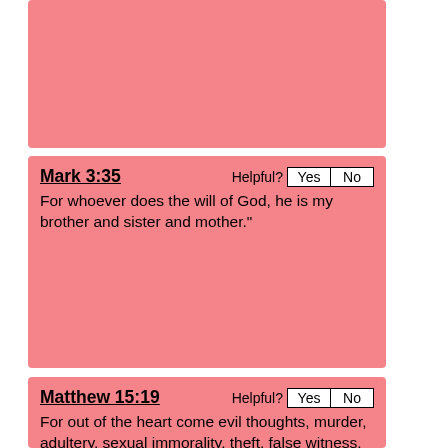[Figure (other): Pink card with no visible text content (top card, partially visible)]
Mark 3:35
For whoever does the will of God, he is my brother and sister and mother."
Matthew 15:19
For out of the heart come evil thoughts, murder, adultery, sexual immorality, theft, false witness, slander.